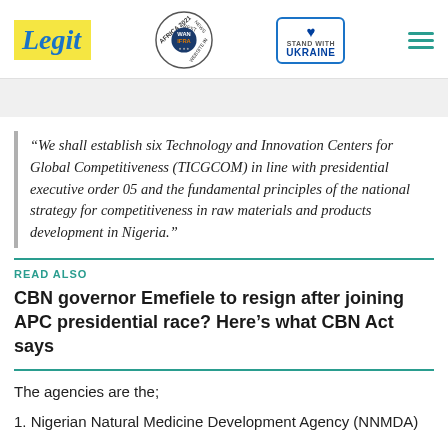Legit | WAN IFRA 2021 Best News Website in Africa | Stand with Ukraine
“We shall establish six Technology and Innovation Centers for Global Competitiveness (TICGCOM) in line with presidential executive order 05 and the fundamental principles of the national strategy for competitiveness in raw materials and products development in Nigeria.”
READ ALSO
CBN governor Emefiele to resign after joining APC presidential race? Here’s what CBN Act says
The agencies are the;
1. Nigerian Natural Medicine Development Agency (NNMDA)